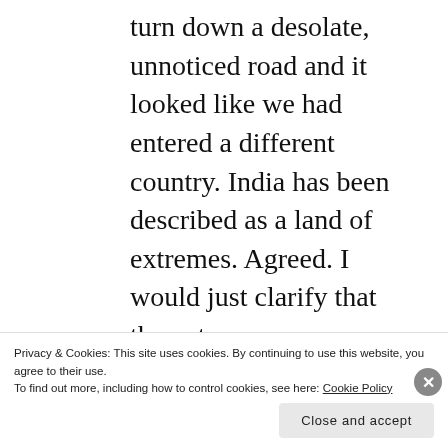turn down a desolate, unnoticed road and it looked like we had entered a different country. India has been described as a land of extremes. Agreed. I would just clarify that the extremes are literally on top of each other, unlike most other places  where cities and neighborhoods create parameters.
Upon our arrival we were greeted
Privacy & Cookies: This site uses cookies. By continuing to use this website, you agree to their use.
To find out more, including how to control cookies, see here: Cookie Policy
Close and accept